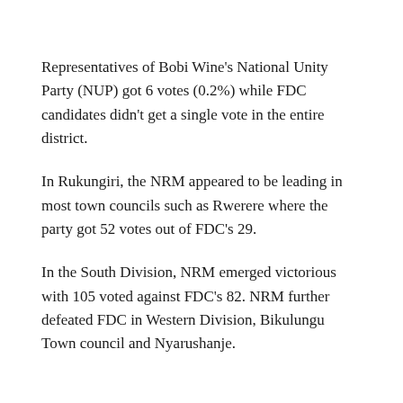Representatives of Bobi Wine's National Unity Party (NUP) got 6 votes (0.2%) while FDC candidates didn't get a single vote in the entire district.
In Rukungiri, the NRM appeared to be leading in most town councils such as Rwerere where the party got 52 votes out of FDC's 29.
In the South Division, NRM emerged victorious with 105 voted against FDC's 82. NRM further defeated FDC in Western Division, Bikulungu Town council and Nyarushanje.